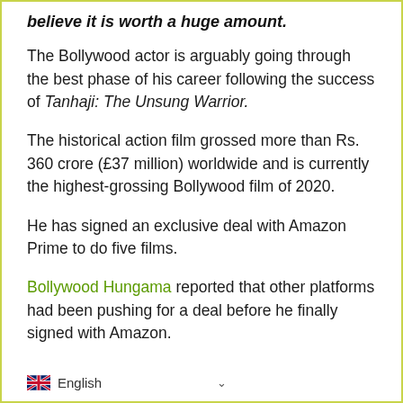believe it is worth a huge amount.
The Bollywood actor is arguably going through the best phase of his career following the success of Tanhaji: The Unsung Warrior.
The historical action film grossed more than Rs. 360 crore (£37 million) worldwide and is currently the highest-grossing Bollywood film of 2020.
He has signed an exclusive deal with Amazon Prime to do five films.
Bollywood Hungama reported that other platforms had been pushing for a deal before he finally signed with Amazon.
English